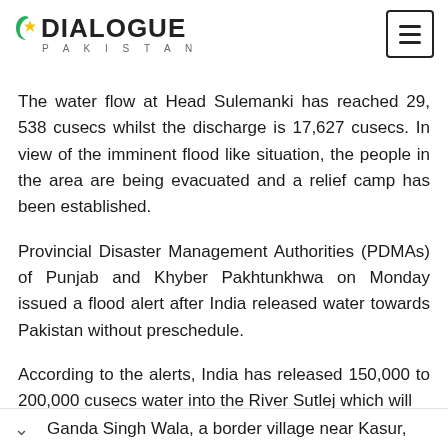DIALOGUE PAKISTAN
The water flow at Head Sulemanki has reached 29, 538 cusecs whilst the discharge is 17,627 cusecs. In view of the imminent flood like situation, the people in the area are being evacuated and a relief camp has been established.
Provincial Disaster Management Authorities (PDMAs) of Punjab and Khyber Pakhtunkhwa on Monday issued a flood alert after India released water towards Pakistan without preschedule.
According to the alerts, India has released 150,000 to 200,000 cusecs water into the River Sutlej which will … Ganda Singh Wala, a border village near Kasur,